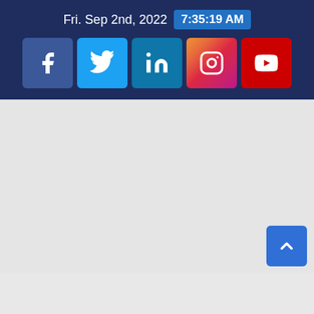Fri. Sep 2nd, 2022  7:35:19 AM
[Figure (infographic): Social media icon buttons: Facebook, Twitter, LinkedIn, Instagram, YouTube]
[Figure (infographic): Scroll-to-top button with upward chevron arrow in blue]